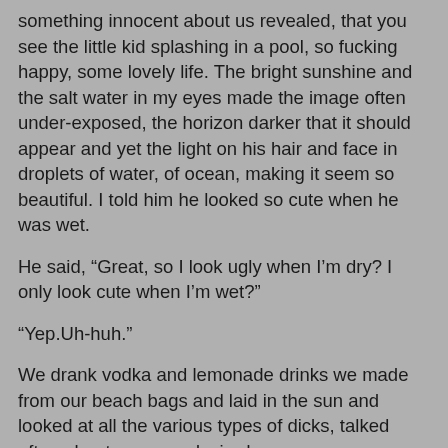something innocent about us revealed, that you see the little kid splashing in a pool, so fucking happy, some lovely life. The bright sunshine and the salt water in my eyes made the image often under-exposed, the horizon darker that it should appear and yet the light on his hair and face in droplets of water, of ocean, making it seem so beautiful. I told him he looked so cute when he was wet.
He said, “Great, so I look ugly when I’m dry? I only look cute when I’m wet?”
“Yep.Uh-huh.”
We drank vodka and lemonade drinks we made from our beach bags and laid in the sun and looked at all the various types of dicks, talked often about ones we desired.
I called in sick today to work. I needed it after the past few days, which I had had off but which were spent doing the process of moving from one apartment to another. The process by this point has become hardly emotional at all, it becoming so common this past year. But I feel settled and at